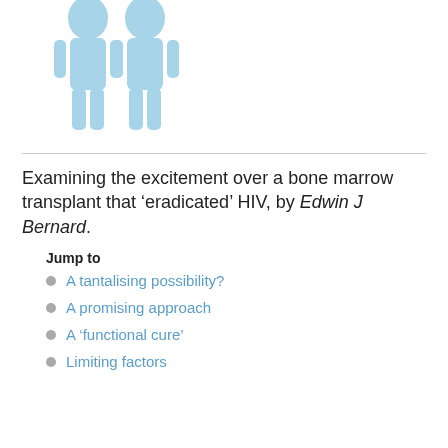[Figure (illustration): Two light blue silhouette figures of people standing side by side on a white background]
Examining the excitement over a bone marrow transplant that ‘eradicated’ HIV, by Edwin J Bernard.
Jump to
A tantalising possibility?
A promising approach
A ‘functional cure’
Limiting factors
Last month, the world’s press reported that a 42-year-old American man living in Berlin had been ‘cured’ of his HIV infection following a bone marrow transplant two years earlier.
We last examined the elusive ‘cure’ for HIV almost three